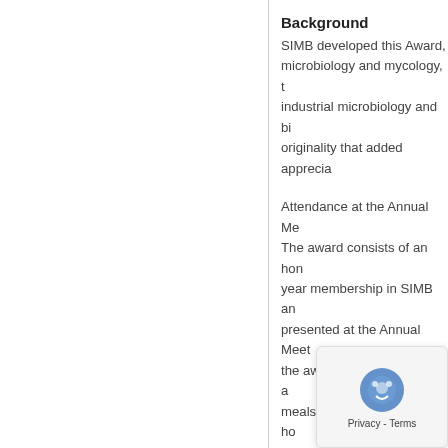Background
SIMB developed this Award, microbiology and mycology, t industrial microbiology and bi originality that added apprecia
Attendance at the Annual Me The award consists of an hon year membership in SIMB an presented at the Annual Meet the awardee for travel such a meals and annual meeting ho
Qualifications
As evidenced by their CV and made outstanding research c biotechnology. While activities conferences, and serving scie considered when judging thei